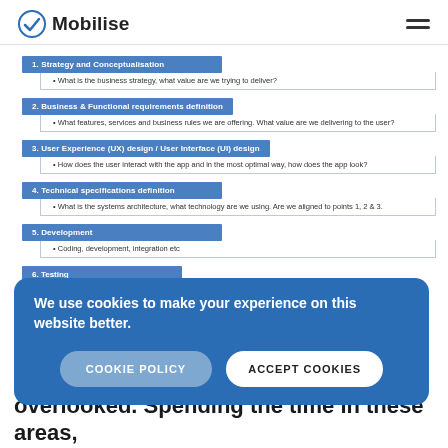Mobilise
1. Strategy and Conceptualisation • What is the business strategy, what value are we trying to deliver?
2. Business & Functional requirements definition • What features, services and business rules we are offering. What value are we delivering to the user?
3. User Experience (UX) design / User Interface (UI) design • How does the user interact with the app and in the most optimal way, how does the app look?
4. Technical specifications definition • What is the systems architecture, what technology are we using. Are we aligned to points 1, 2 & 3.
5. Development • Coding, development, integration etc
6. Testing
We use cookies to make your experience on this website better.
overlooked. Spending the time in these areas,